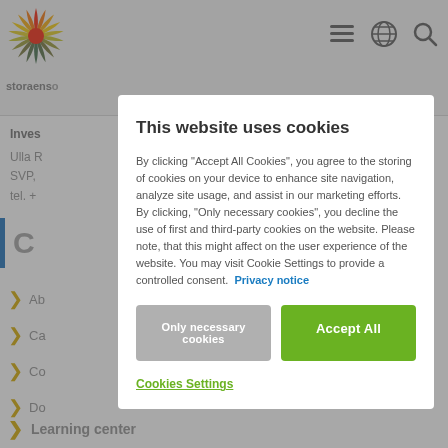[Figure (screenshot): Stora Enso website background showing navigation bar with logo, hamburger menu, globe icon, search icon, and partial page content with investor relations info and navigation links]
This website uses cookies
By clicking “Accept All Cookies”, you agree to the storing of cookies on your device to enhance site navigation, analyze site usage, and assist in our marketing efforts. By clicking, “Only necessary cookies”, you decline the use of first and third-party cookies on the website. Please note, that this might affect on the user experience of the website. You may visit Cookie Settings to provide a controlled consent. Privacy notice
Only necessary cookies
Accept All
Cookies Settings